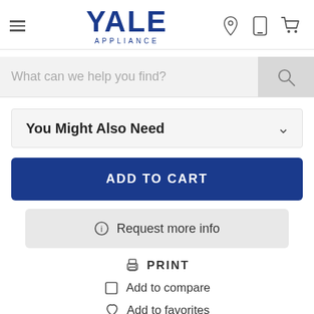[Figure (screenshot): Yale Appliance website header with hamburger menu, YALE APPLIANCE logo, location pin icon, phone icon, and cart icon]
What can we help you find?
You Might Also Need
ADD TO CART
Request more info
PRINT
Add to compare
Add to favorites